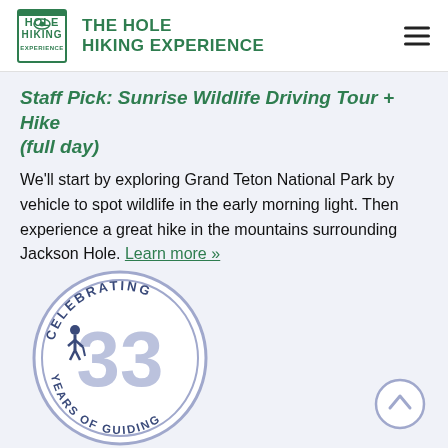THE HOLE HIKING EXPERIENCE
Staff Pick: Sunrise Wildlife Driving Tour + Hike (full day)
We'll start by exploring Grand Teton National Park by vehicle to spot wildlife in the early morning light. Then experience a great hike in the mountains surrounding Jackson Hole. Learn more »
[Figure (logo): Celebrating 33 Years of Guiding circular badge logo in blue/lavender colors]
[Figure (other): Scroll-up/back-to-top circle button with upward chevron arrow]